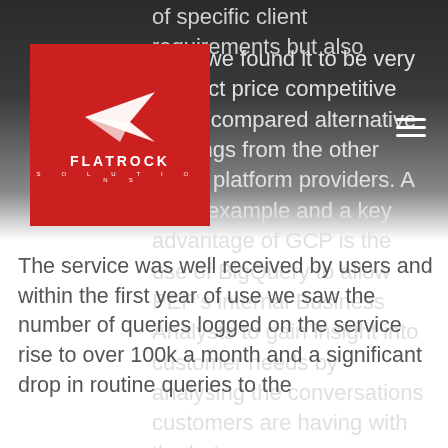of specific client requirements but also
[Figure (logo): Flatrock Solutions logo — white paper airplane icon on red background with text FLATROCK SOLUTIONS]
ause we found it to be very product price competitive when compared alternative offerings from the other major platform providers. A good example and a key advantage of GCP is the use of BigQuery to allow PEP's internal Business Analysts to gain insight into customer needs by analysing the conversations customers are having with the bot.
The service was well received by users and within the first year of use we saw the number of queries logged on the service rise to over 100k a month and a significant drop in routine queries to the